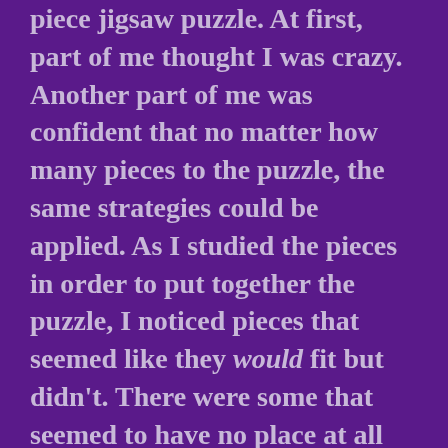piece jigsaw puzzle. At first, part of me thought I was crazy. Another part of me was confident that no matter how many pieces to the puzzle, the same strategies could be applied. As I studied the pieces in order to put together the puzzle, I noticed pieces that seemed like they would fit but didn't. There were some that seemed to have no place at all but did when it was time. There were some that fit but needed a little push to make the union seamless. Still, there were pieces that did fit and match until the arrival of bona fide surrounding pieces made it clear that a particular piece was a counterfeit! Even though I had my strategy and I knew what the big picture should look like, it was clear to me how